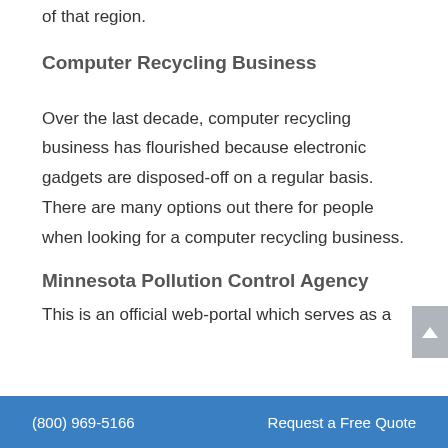of that region.
Computer Recycling Business
Over the last decade, computer recycling business has flourished because electronic gadgets are disposed-off on a regular basis. There are many options out there for people when looking for a computer recycling business.
Minnesota Pollution Control Agency
This is an official web-portal which serves as a
(800) 969-5166   Request a Free Quote